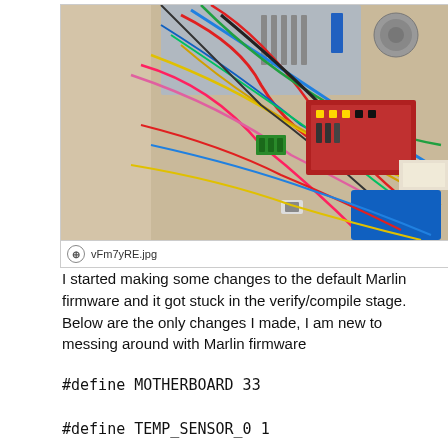[Figure (photo): Interior of a 3D printer enclosure showing a power supply unit (silver metal box), an Arduino/RAMPS control board with many colorful wires (red, blue, green, yellow, pink, black) routed throughout a wooden box. A blue component is visible in the lower right.]
vFm7yRE.jpg
I started making some changes to the default Marlin firmware and it got stuck in the verify/compile stage. Below are the only changes I made, I am new to messing around with Marlin firmware
#define MOTHERBOARD 33
#define TEMP_SENSOR_0 1